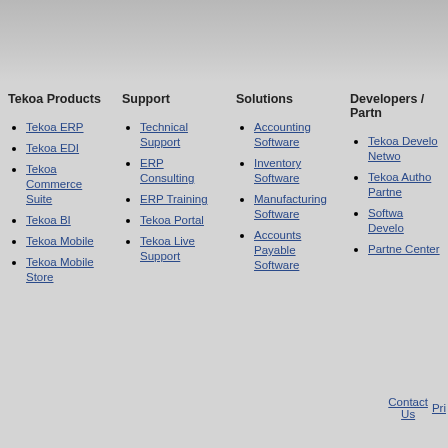[Figure (other): Gray header/banner bar at top of page]
Tekoa Products
Tekoa ERP
Tekoa EDI
Tekoa Commerce Suite
Tekoa BI
Tekoa Mobile
Tekoa Mobile Store
Support
Technical Support
ERP Consulting
ERP Training
Tekoa Portal
Tekoa Live Support
Solutions
Accounting Software
Inventory Software
Manufacturing Software
Accounts Payable Software
Developers / Partn...
Tekoa Develo... Netwo...
Tekoa Autho... Partne...
Softwa... Develo...
Partne... Center
Contact Us   Pri...